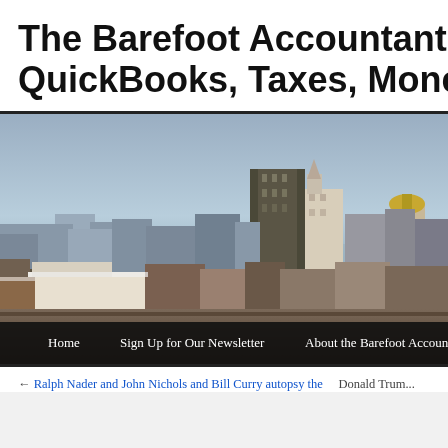The Barefoot Accountant on A... QuickBooks, Taxes, Money, ar...
[Figure (photo): City skyline photo showing urban buildings and skyscrapers against a cloudy sky, with a navigation bar at the bottom containing links: Home, Sign Up for Our Newsletter, About the Barefoot Accountant]
← Ralph Nader and John Nichols and Bill Curry autopsy the ...    Donald Trum...